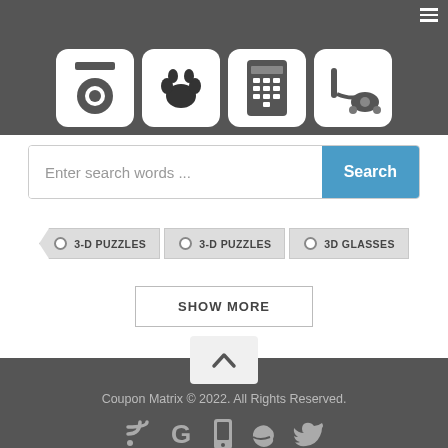[Figure (screenshot): Top navigation bar with hamburger menu icon on dark grey background, with four icon cards showing: camera/eye icon, paw print icon, phone/calculator icon, vacuum cleaner icon]
Enter search words ...
○ 3-D PUZZLES
○ 3-D PUZZLES
○ 3D GLASSES
SHOW MORE
[Figure (screenshot): Up arrow chevron button]
Coupon Matrix © 2022. All Rights Reserved.
[Figure (screenshot): Social media icons: RSS feed, Google G, phone/mobile, browser edge, Twitter bird - all in grey]